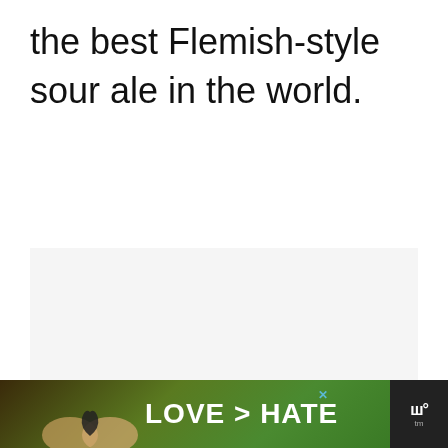the best Flemish-style sour ale in the world.
[Figure (other): Empty light gray placeholder rectangle for an image or advertisement content area]
[Figure (other): Advertisement banner with dark background showing two hands forming a heart shape against a green outdoor background, with text 'LOVE > HATE', a blue X close button, and a logo on the right side]